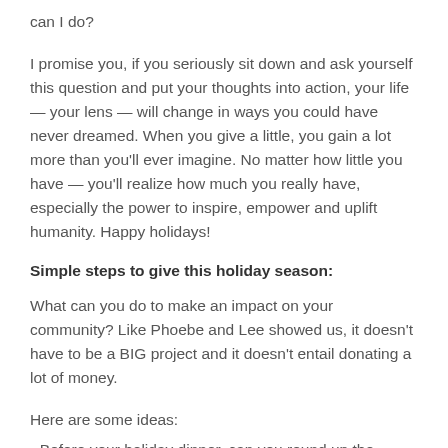can I do?
I promise you, if you seriously sit down and ask yourself this question and put your thoughts into action, your life — your lens — will change in ways you could have never dreamed. When you give a little, you gain a lot more than you'll ever imagine. No matter how little you have — you'll realize how much you really have, especially the power to inspire, empower and uplift humanity. Happy holidays!
Simple steps to give this holiday season:
What can you do to make an impact on your community? Like Phoebe and Lee showed us, it doesn't have to be a BIG project and it doesn't entail donating a lot of money.
Here are some ideas:
Before your holiday dinner, can you round up the family to